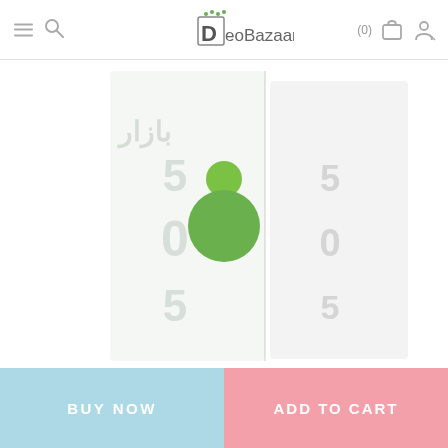DeoBazaar — navigation header with hamburger menu, search icon, logo, cart (0), and user icon
[Figure (photo): Product photo showing two tall rectangular boxes/bottles of a deodorant or body care product with Arabic text and green logo overlay (DeoBazaar branding), displayed side by side on white background]
BUY NOW
ADD TO CART